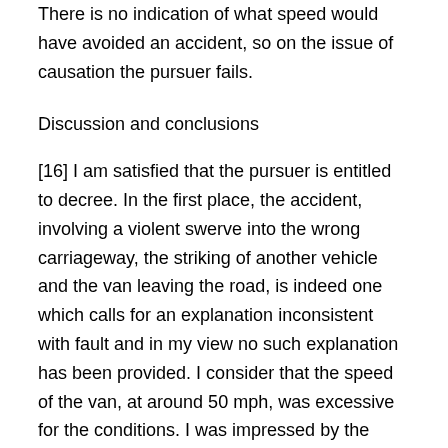There is no indication of what speed would have avoided an accident, so on the issue of causation the pursuer fails.
Discussion and conclusions
[16] I am satisfied that the pursuer is entitled to decree. In the first place, the accident, involving a violent swerve into the wrong carriageway, the striking of another vehicle and the van leaving the road, is indeed one which calls for an explanation inconsistent with fault and in my view no such explanation has been provided. I consider that the speed of the van, at around 50 mph, was excessive for the conditions. I was impressed by the evidence of Miss Kirkpatrick that she thought, immediately prior to the accident, that the van was going too fast for the conditions. At the time that she made that assessment she had already given consideration herself to the appropriate